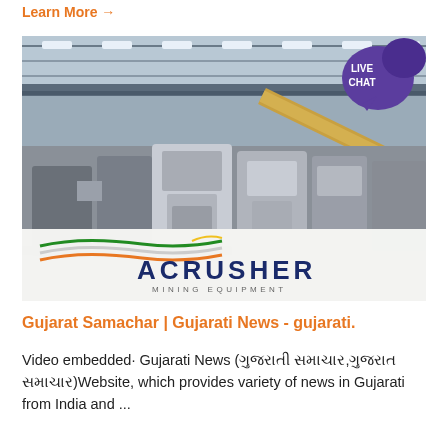Learn More →
[Figure (photo): Industrial factory interior with heavy mining/crushing equipment and ACRUSHER Mining Equipment logo overlay at the bottom. A live chat bubble badge is visible in the top-right corner of the image.]
Gujarat Samachar | Gujarati News - gujarati.
Video embedded· Gujarati News (ગુજરાતી સમાચાર,ગુજરાત સમાચાર)Website, which provides variety of news in Gujarati from India and ...